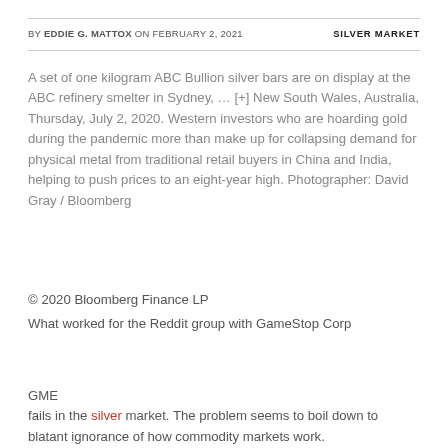BY EDDIE G. MATTOX ON FEBRUARY 2, 2021   SILVER MARKET
A set of one kilogram ABC Bullion silver bars are on display at the ABC refinery smelter in Sydney, … [+] New South Wales, Australia, Thursday, July 2, 2020. Western investors who are hoarding gold during the pandemic more than make up for collapsing demand for physical metal from traditional retail buyers in China and India, helping to push prices to an eight-year high. Photographer: David Gray / Bloomberg
© 2020 Bloomberg Finance LP
What worked for the Reddit group with GameStop Corp
GME
fails in the silver market. The problem seems to boil down to blatant ignorance of how commodity markets work.